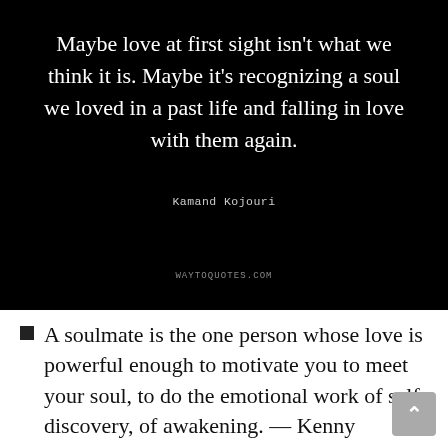[Figure (infographic): Black background quote image with white serif text: 'Maybe love at first sight isn't what we think it is. Maybe it's recognizing a soul we loved in a past life and falling in love with them again.' Attribution: Kamand Kojouri. Source: waytoquotes.com]
A soulmate is the one person whose love is powerful enough to motivate you to meet your soul, to do the emotional work of self-discovery, of awakening. — Kenny Loggins
When love runs soul-deep, a kiss is no